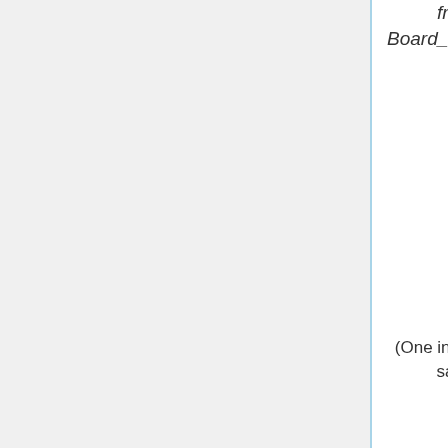from internal wiki: Board_meeting_Minutes/17_September_2019)
(One intermediate revision by the same user not shown)
Line 4:
Line 4:
{{minutes approved|29 October 2019}}
{{minutes approved|29 October 2019}}
;Unspecified: '''Move your name to